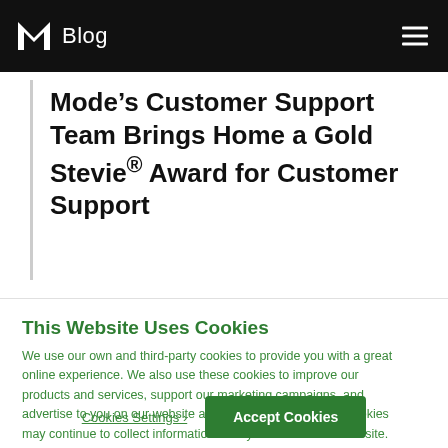M Blog
Mode’s Customer Support Team Brings Home a Gold Stevie® Award for Customer Support
This Website Uses Cookies
We use our own and third-party cookies to provide you with a great online experience. We also use these cookies to improve our products and services, support our marketing campaigns, and advertise to you on our website and other websites. Some cookies may continue to collect information after you have left our website. Learn more here ›
Cookies Settings ›
Accept Cookies